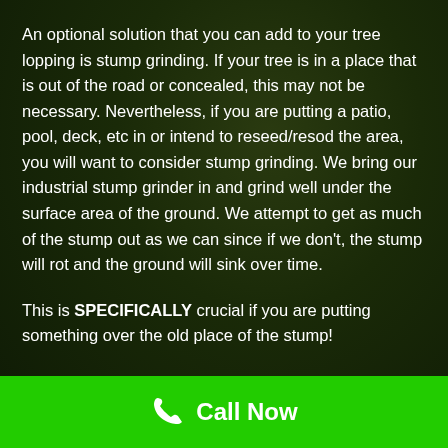An optional solution that you can add to your tree lopping is stump grinding. If your tree is in a place that is out of the road or concealed, this may not be necessary. Nevertheless, if you are putting a patio, pool, deck, etc in or intend to reseed/resod the area, you will want to consider stump grinding. We bring our industrial stump grinder in and grind well under the surface area of the ground. We attempt to get as much of the stump out as we can since if we don't, the stump will rot and the ground will sink over time.
This is SPECIFICALLY crucial if you are putting something over the old place of the stump!
[Figure (infographic): Green call-to-action bar with a phone icon and 'Call Now' text in white on a bright green background]